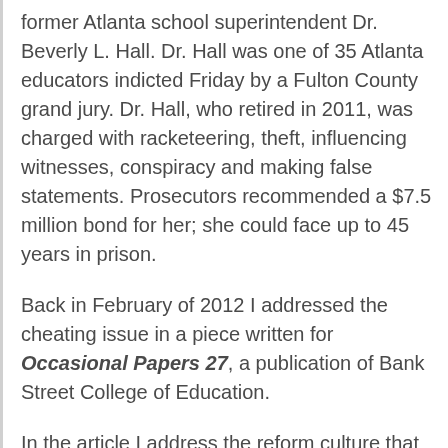former Atlanta school superintendent Dr. Beverly L. Hall. Dr. Hall was one of 35 Atlanta educators indicted Friday by a Fulton County grand jury. Dr. Hall, who retired in 2011, was charged with racketeering, theft, influencing witnesses, conspiracy and making false statements. Prosecutors recommended a $7.5 million bond for her; she could face up to 45 years in prison.
Back in February of 2012 I addressed the cheating issue in a piece written for Occasional Papers 27, a publication of Bank Street College of Education.
In the article I address the reform culture that has created the conditions for scandals like the one in Atlanta.